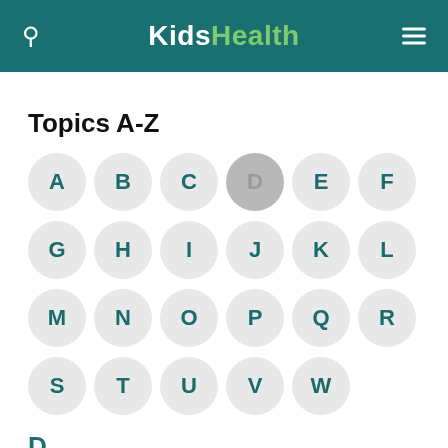KidsHealth
Topics A-Z
[Figure (infographic): Alphabet navigation circles A through W arranged in a grid. Letters A-F in row 1, G-L in row 2, M-R in row 3, S-W in row 4. Letter D is highlighted/active (darker circle with grey text).]
D